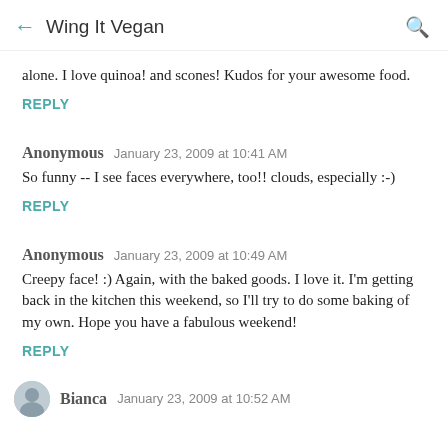Wing It Vegan
alone. I love quinoa! and scones! Kudos for your awesome food.
REPLY
Anonymous   January 23, 2009 at 10:41 AM
So funny -- I see faces everywhere, too!! clouds, especially :-)
REPLY
Anonymous   January 23, 2009 at 10:49 AM
Creepy face! :) Again, with the baked goods. I love it. I'm getting back in the kitchen this weekend, so I'll try to do some baking of my own. Hope you have a fabulous weekend!
REPLY
Bianca   January 23, 2009 at 10:52 AM